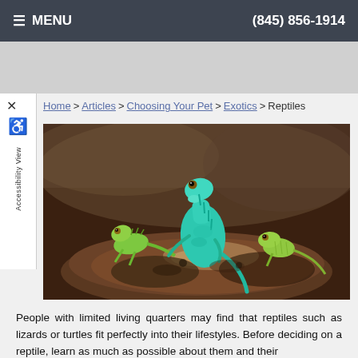≡ MENU   (845) 856-1914
Home > Articles > Choosing Your Pet > Exotics > Reptiles
[Figure (photo): Three green lizards (chameleons/iguanas) sitting on a log/rock, photographed close-up against a dark brown background.]
People with limited living quarters may find that reptiles such as lizards or turtles fit perfectly into their lifestyles. Before deciding on a reptile, learn as much as possible about them and their